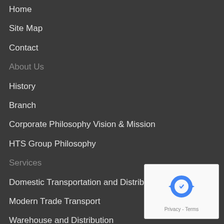Home
Site Map
Contact
About Us
History
Branch
Corporate Philosophy Vision & Mission
HTS Group Philosophy
Services
Domestic Transportation and Distribution
Modern Trade Transport
Warehouse and Distribution
Automotive Warehouse and Milk-run
[Figure (logo): reCAPTCHA badge with recycle arrow logo and Privacy - Terms text]